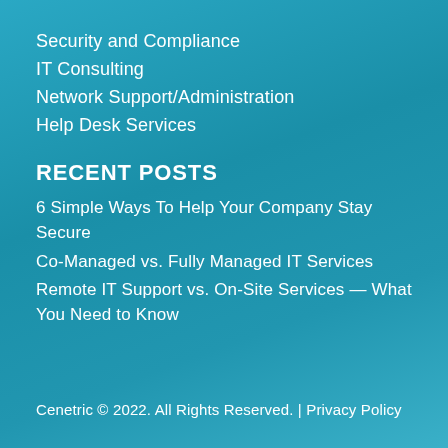Security and Compliance
IT Consulting
Network Support/Administration
Help Desk Services
RECENT POSTS
6 Simple Ways To Help Your Company Stay Secure
Co-Managed vs. Fully Managed IT Services
Remote IT Support vs. On-Site Services — What You Need to Know
Cenetric © 2022. All Rights Reserved. | Privacy Policy